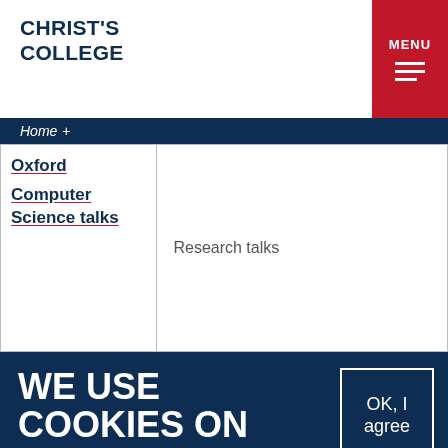CHRIST'S COLLEGE
Home +
| Oxford
Computer
Science talks | Research talks |
WE USE COOKIES ON THIS SITE TO ENHANCE YOUR USER EXPERIENCE
OK, I agree
No thanks
By clicking any link on this page you are giving your consent for us to set cookies.
More info